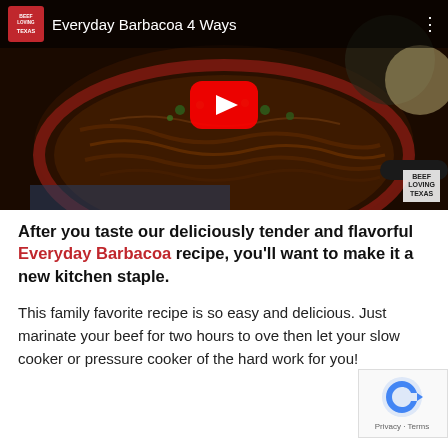[Figure (screenshot): YouTube video thumbnail showing 'Everyday Barbacoa 4 Ways' with a bowl of shredded beef barbacoa garnished with cilantro. Red YouTube play button in center. Beef Loving Texans logo in top-left corner.]
After you taste our deliciously tender and flavorful Everyday Barbacoa recipe, you'll want to make it a new kitchen staple.
This family favorite recipe is so easy and delicious. Just marinate your beef for two hours to ove then let your slow cooker or pressure cooker of the hard work for you!